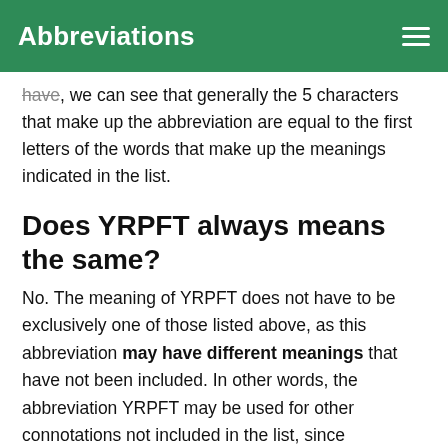Abbreviations
have, we can see that generally the 5 characters that make up the abbreviation are equal to the first letters of the words that make up the meanings indicated in the list.
Does YRPFT always means the same?
No. The meaning of YRPFT does not have to be exclusively one of those listed above, as this abbreviation may have different meanings that have not been included. In other words, the abbreviation YRPFT may be used for other connotations not included in the list, since